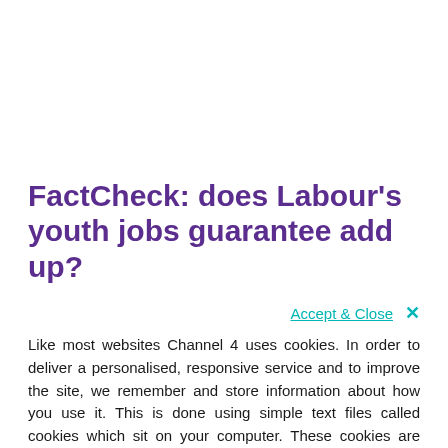FactCheck: does Labour's youth jobs guarantee add up?
Accept & Close ✕
Like most websites Channel 4 uses cookies. In order to deliver a personalised, responsive service and to improve the site, we remember and store information about how you use it. This is done using simple text files called cookies which sit on your computer. These cookies are completely safe and secure and will never contain any sensitive information. They are used only by Channel 4 or the trusted partners we work with. How to manage cookies